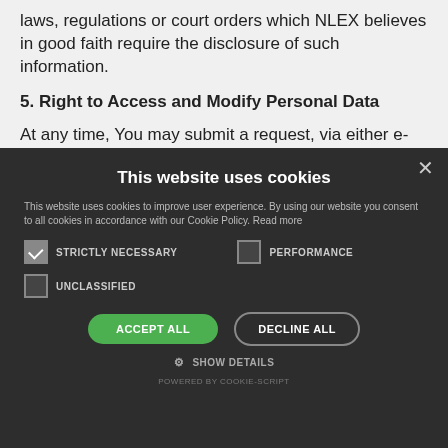laws, regulations or court orders which NLEX believes in good faith require the disclosure of such information.
5. Right to Access and Modify Personal Data
At any time, You may submit a request, via either e-
This website uses cookies
This website uses cookies to improve user experience. By using our website you consent to all cookies in accordance with our Cookie Policy. Read more
STRICTLY NECESSARY    PERFORMANCE    UNCLASSIFIED
ACCEPT ALL    DECLINE ALL
⚙ SHOW DETAILS
POWERED BY COOKIE-SCRIPT